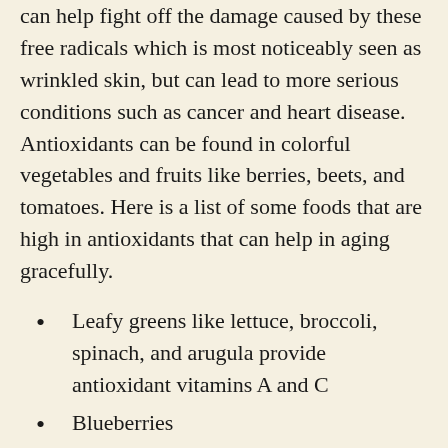can help fight off the damage caused by these free radicals which is most noticeably seen as wrinkled skin, but can lead to more serious conditions such as cancer and heart disease. Antioxidants can be found in colorful vegetables and fruits like berries, beets, and tomatoes. Here is a list of some foods that are high in antioxidants that can help in aging gracefully.
Leafy greens like lettuce, broccoli, spinach, and arugula provide antioxidant vitamins A and C
Blueberries
green tea
sprouts
garlic
blue green algae
edible grasses
tumeric
Tomatoes, watermelon, grapefruit, asparagus and red cabbage are high in the antioxidant lycopene